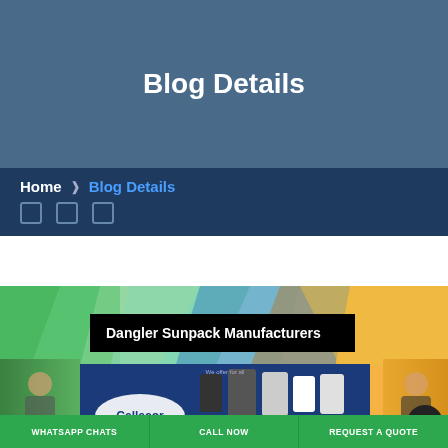Blog Details
Home ❯ Blog Details
[Figure (screenshot): Product display banner showing 'Dangler Sunpack Manufacturers' text overlay on a colorful geometric background with Cellecor mobile phones displayed below]
WHATSAPP CHATS | CALL NOW | REQUEST A QUOTE